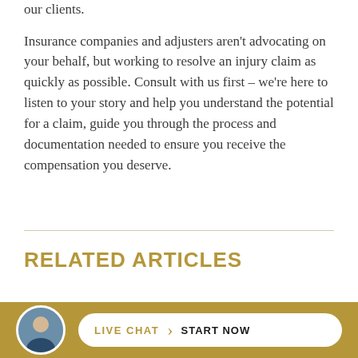our clients.
Insurance companies and adjusters aren't advocating on your behalf, but working to resolve an injury claim as quickly as possible. Consult with us first – we're here to listen to your story and help you understand the potential for a claim, guide you through the process and documentation needed to ensure you receive the compensation you deserve.
RELATED ARTICLES
PERSONAL INJURY CLAIM? IT PAYS TO GET A SE... C...
LIVE CHAT › START NOW